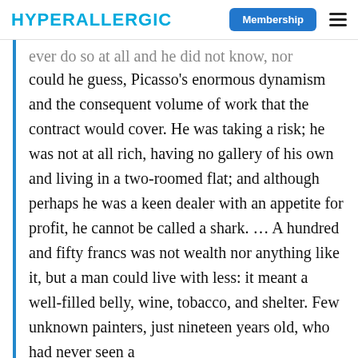HYPERALLERGIC | Membership
ever do so at all and he did not know, nor could he guess, Picasso's enormous dynamism and the consequent volume of work that the contract would cover. He was taking a risk; he was not at all rich, having no gallery of his own and living in a two-roomed flat; and although perhaps he was a keen dealer with an appetite for profit, he cannot be called a shark. … A hundred and fifty francs was not wealth nor anything like it, but a man could live with less: it meant a well-filled belly, wine, tobacco, and shelter. Few unknown painters, just nineteen years old, who had never seen a